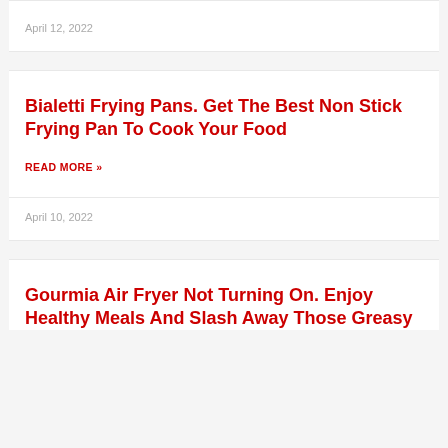April 12, 2022
Bialetti Frying Pans. Get The Best Non Stick Frying Pan To Cook Your Food
READ MORE »
April 10, 2022
Gourmia Air Fryer Not Turning On. Enjoy Healthy Meals And Slash Away Those Greasy